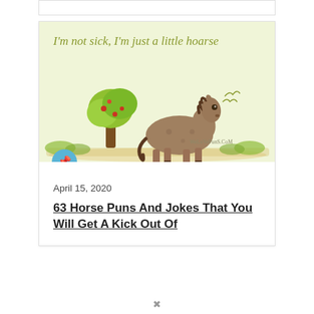[Figure (illustration): Light green background illustration with text 'I'm not sick, I'm just a little hoarse', showing a cartoon horse standing next to a fruit tree, with a curly speech bubble. WeLovePunS.CoM watermark at bottom right.]
April 15, 2020
63 Horse Puns And Jokes That You Will Get A Kick Out Of